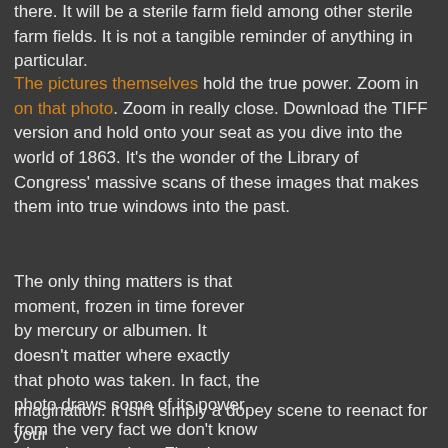there. It will be a sterile farm field among other sterile farm fields. It is not a tangible reminder of anything in particular.
The pictures themselves hold the true power. Zoom in on that photo. Zoom in really close. Download the TIFF version and hold onto your seat as you dive into the world of 1863. It's the wonder of the Library of Congress' massive scans of these images that makes them into true windows into the past.
The only thing matters is that moment, frozen in time forever by mercury or albumen. It doesn't matter where exactly that photo was taken. In fact, the photo draws some of its power from the very fact we don't know where it was taken. First, it means that the photo still holds sway in the imagination. It isn't simply a dopey scene to reenact for your
[Figure (photo): Black and white close-up photograph of feet/boots lying in straw or grass, suggesting a dead soldier from the Civil War era]
Feet that would never walk through the door of their home again...